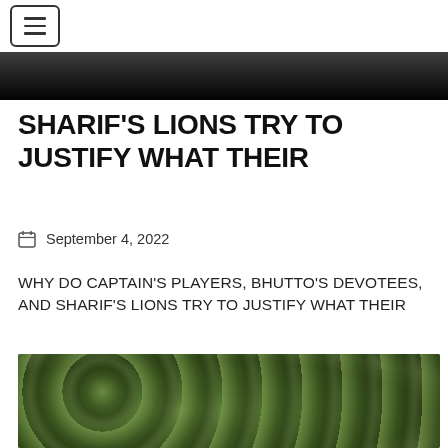☰
[Figure (photo): Dark header image, partially visible at top of page]
SHARIF'S LIONS TRY TO JUSTIFY WHAT THEIR
September 4, 2022
WHY DO CAPTAIN'S PLAYERS, BHUTTO'S DEVOTEES, AND SHARIF'S LIONS TRY TO JUSTIFY WHAT THEIR
[Figure (photo): Close-up photo of green vegetables/peppers piled together, with category tags HEALTH & FITNESS, NEWS, NEWS IN IMAGE overlaid at top]